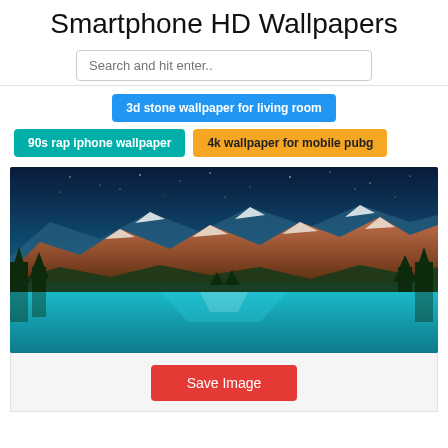Smartphone HD Wallpapers
Search and hit enter..
3d stone wallpaper for living room
90s rap iphone wallpaper
4k wallpaper for mobile pubg
[Figure (photo): Mountain landscape with turquoise lake, snow-capped rocky mountains, pine trees, and starry night sky (Moraine Lake style wallpaper)]
Save Image